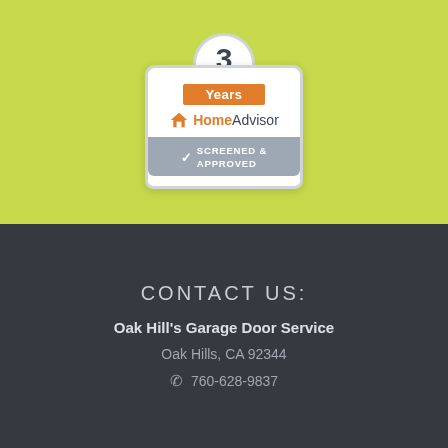[Figure (logo): HomeAdvisor 3 Years Screened & Approved badge. White shield-like badge with grey border on a yellow-green background. Top arc shows number '3' in dark grey. Orange banner reads 'Years'. HomeAdvisor logo with orange house icon. Grey bottom bar with checkmark and text 'SCREENED & APPROVED'.]
CONTACT US:
Oak Hill's Garage Door Service
Oak Hills, CA 92344
760-628-9837